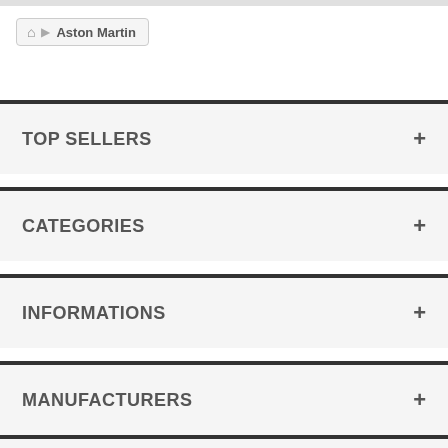Home > Aston Martin
TOP SELLERS
CATEGORIES
INFORMATIONS
MANUFACTURERS
OUR STORES